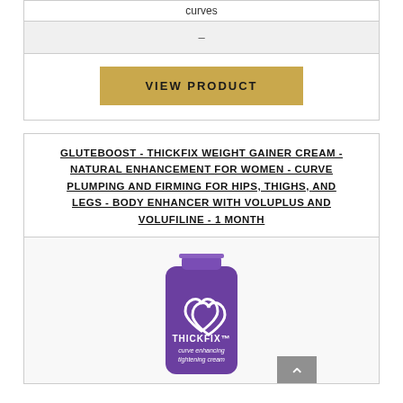curves
–
VIEW PRODUCT
GLUTEBOOST - THICKFIX WEIGHT GAINER CREAM - NATURAL ENHANCEMENT FOR WOMEN - CURVE PLUMPING AND FIRMING FOR HIPS, THIGHS, AND LEGS - BODY ENHANCER WITH VOLUPLUS AND VOLUFILINE - 1 MONTH
[Figure (photo): Purple THICKFIX curve enhancing tightening cream tube with double heart logo]